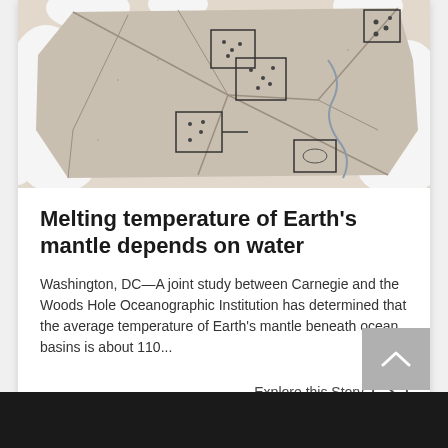[Figure (illustration): Scientific illustration showing a cross-section of cracked rock/mantle with annotated rectangular boxes marking sample locations, surrounded by white irregular shapes suggesting ice or coastline.]
Melting temperature of Earth's mantle depends on water
Washington, DC—A joint study between Carnegie and the Woods Hole Oceanographic Institution has determined that the average temperature of Earth's mantle beneath ocean basins is about 110...
Explore this Story